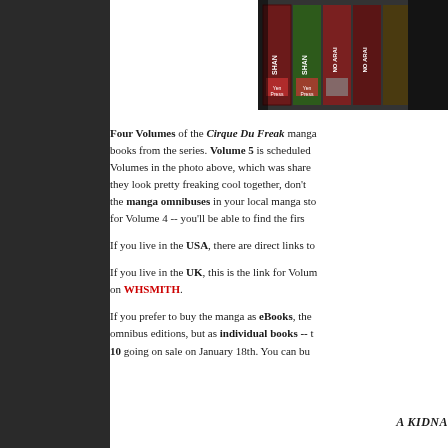[Figure (photo): Photo of manga book spines on a shelf — multiple volumes with red and green spines labeled SHAN and NO ARAI with Yen Press logos]
Four Volumes of the Cirque Du Freak manga books from the series. Volume 5 is scheduled Volumes in the photo above, which was share they look pretty freaking cool together, don't the manga omnibuses in your local manga sto for Volume 4 -- you'll be able to find the firs
If you live in the USA, there are direct links to
If you live in the UK, this is the link for Volum on WHSMITH.
If you prefer to buy the manga as eBooks, the omnibus editions, but as individual books -- t 10 going on sale on January 18th. You can bu
A KIDNA